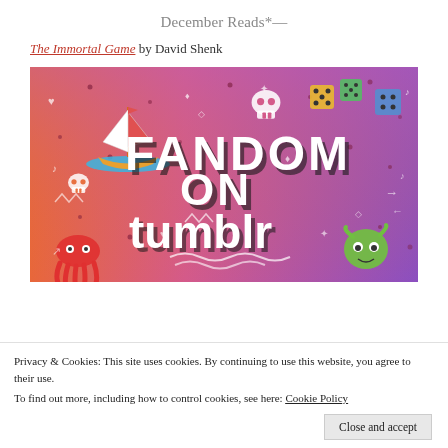December Reads*—
The Immortal Game by David Shenk
[Figure (illustration): Colorful 'Fandom on Tumblr' promotional image with gradient orange-to-purple background, featuring doodle-style illustrations of a sailboat, skull, dice, octopus, and green character, with large bold text reading 'FANDOM ON tumblr']
Privacy & Cookies: This site uses cookies. By continuing to use this website, you agree to their use.
To find out more, including how to control cookies, see here: Cookie Policy
Close and accept